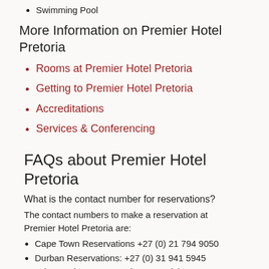Swimming Pool
More Information on Premier Hotel Pretoria
Rooms at Premier Hotel Pretoria
Getting to Premier Hotel Pretoria
Accreditations
Services & Conferencing
FAQs about Premier Hotel Pretoria
What is the contact number for reservations?
The contact numbers to make a reservation at Premier Hotel Pretoria are:
Cape Town Reservations +27 (0) 21 794 9050
Durban Reservations: +27 (0) 31 941 5945
Johannesburg Reservations: +27 (0) 10 446 8045.